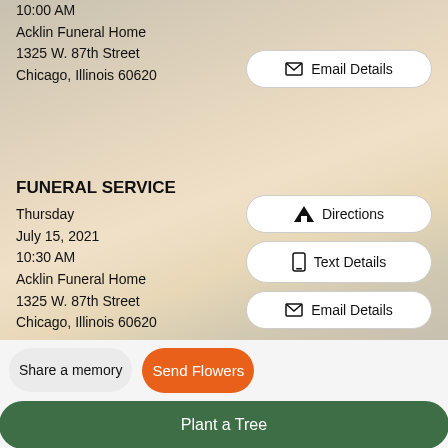10:00 AM
Acklin Funeral Home
1325 W. 87th Street
Chicago, Illinois 60620
[Figure (other): Email Details button with envelope icon]
FUNERAL SERVICE
Thursday
July 15, 2021
10:30 AM
Acklin Funeral Home
1325 W. 87th Street
Chicago, Illinois 60620
[Figure (other): Directions button with road icon]
[Figure (other): Text Details button with phone icon]
[Figure (other): Email Details button with envelope icon]
[Figure (other): Share a memory button]
[Figure (other): Send Flowers button in orange]
[Figure (other): Plant a Tree button in green]